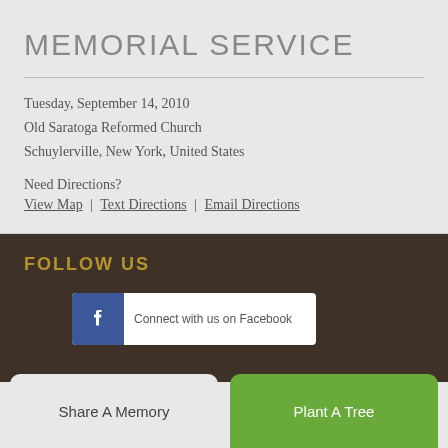MEMORIAL SERVICE
Tuesday, September 14, 2010
Old Saratoga Reformed Church
Schuylerville, New York, United States
Need Directions?
View Map | Text Directions | Email Directions
FOLLOW US
[Figure (screenshot): Facebook follow button with blue Facebook icon and partial text on white background]
Share A Memory
Plant A Tree